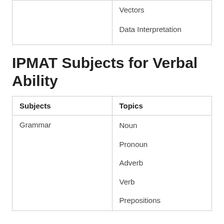| Subjects | Topics |
| --- | --- |
|  | Vectors

Data Interpretation |
IPMAT Subjects for Verbal Ability
| Subjects | Topics |
| --- | --- |
| Grammar | Noun

Pronoun

Adverb

Verb

Prepositions |